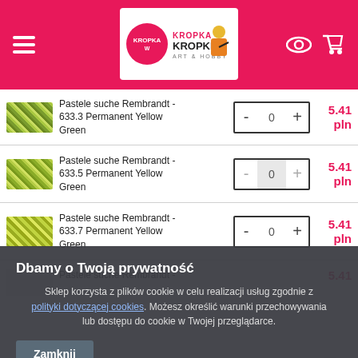Kropka w Kropke Art & Hobby – online shop header
Pastele suche Rembrandt - 633.3 Permanent Yellow Green – 5.41 pln
Pastele suche Rembrandt - 633.5 Permanent Yellow Green – 5.41 pln
Pastele suche Rembrandt - 633.7 Permanent Yellow Green – 5.41 pln
Pastele suche Rembrandt - [partial] – 5.41 pln
Dbamy o Twoją prywatność
Sklep korzysta z plików cookie w celu realizacji usług zgodnie z [link] dotyczącą [link]. Możesz określić warunki przechowywania lub dostępu do cookie w Twojej przeglądarce.
Zamknij